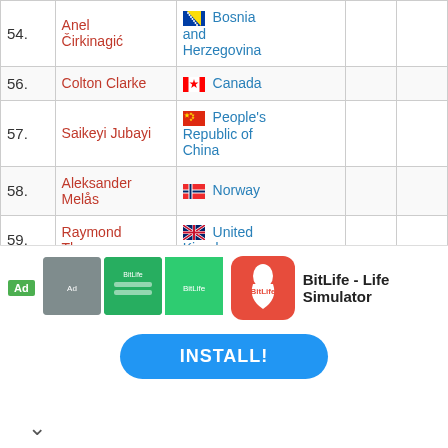| # | Name | Country |  |  |
| --- | --- | --- | --- | --- |
| 54. | Anel Čirkinagić | 🇧🇦 Bosnia and Herzegovina |  |  |
| 56. | Colton Clarke | 🇨🇦 Canada |  |  |
| 57. | Saikeyi Jubayi | 🇨🇳 People's Republic of China |  |  |
| 58. | Aleksander Melås | 🇳🇴 Norway |  |  |
| 59. | Raymond Thompson | 🇬🇧 United Kingdom |  |  |
| 60. | Tsvetelin Ivanov | 🇧🇬 Bulgaria |  |  |
|  | Daniil |  |  |  |
[Figure (screenshot): Mobile app advertisement for BitLife - Life Simulator with INSTALL button]